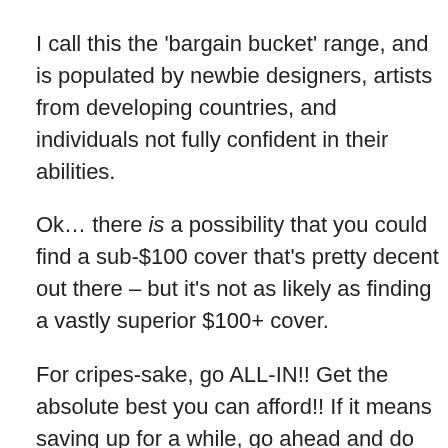I call this the 'bargain bucket' range, and is populated by newbie designers, artists from developing countries, and individuals not fully confident in their abilities.
Ok… there is a possibility that you could find a sub-$100 cover that's pretty decent out there – but it's not as likely as finding a vastly superior $100+ cover.
For cripes-sake, go ALL-IN!! Get the absolute best you can afford!! If it means saving up for a while, go ahead and do that. I personally know we're not all starting on equal footing when it comes to money – just do the best you can, with the hand you're dealt.
I'd argue anyone within a developed nation could raise $100 USD within 3 months, if they really put